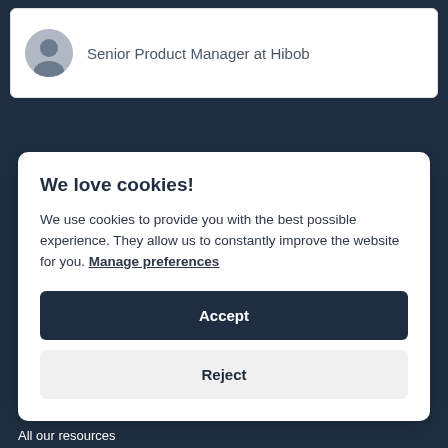Senior Product Manager at Hibob
We love cookies!
We use cookies to provide you with the best possible experience. They allow us to constantly improve the website for you. Manage preferences
Accept
Reject
All our resources